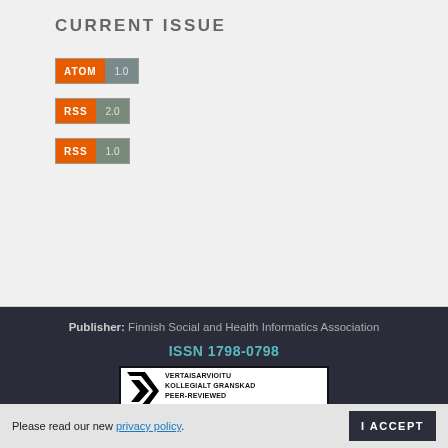CURRENT ISSUE
[Figure (logo): ATOM 1.0 feed badge - orange ATOM label with gray-green 1.0 version]
[Figure (logo): RSS 2.0 feed badge - orange RSS label with gray-green 2.0 version]
[Figure (logo): RSS 1.0 feed badge - orange RSS label with gray-green 1.0 version]
Publisher: Finnish Social and Health Informatics Association
ISSN 1798-0798
[Figure (logo): Peer-reviewed badge: VERTAISARVIOITU KOLLEGIALT GRANSKAD PEER-REVIEWED www.tsv.fi/tunnus with arrow logo]
Finnish Society of Telemedicine and eHealth
Please read our new privacy policy. I ACCEPT